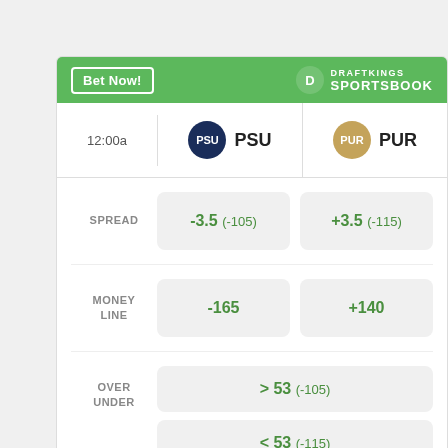[Figure (infographic): DraftKings Sportsbook betting odds widget for PSU vs PUR game. Shows spread, money line, and over/under odds. Header: Bet Now button and DraftKings Sportsbook logo on green background. Teams: PSU vs PUR at 12:00a. Spread: PSU -3.5 (-105), PUR +3.5 (-115). Money Line: PSU -165, PUR +140. Over/Under: > 53 (-105) / < 53 (-115). Disclaimer: Odds/Lines subject to change. See draftkings.com for details.]